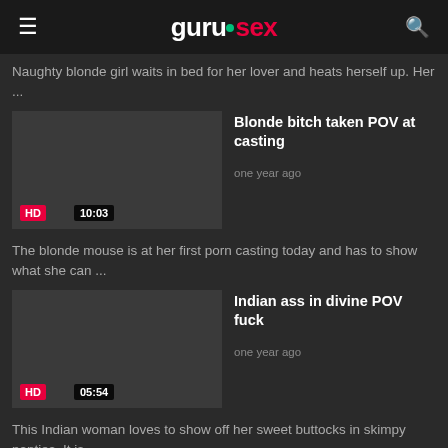gurusex
Naughty blonde girl waits in bed for her lover and heats herself up. Her ...
Blonde bitch taken POV at casting
one year ago
HD  10:03
The blonde mouse is at her first porn casting today and has to show what she can ...
Indian ass in divine POV fuck
one year ago
HD  05:54
This Indian woman loves to show off her sweet buttocks in skimpy panties. It is ...
POV sex with Indian beauty